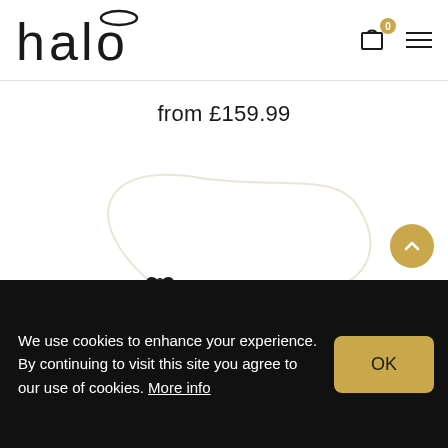halo
from £159.99
[Figure (photo): Halo hair extension product shown from behind/above — a weft of blonde straight hair with a thin clear fishing-line halo wire and a small black bow/clip at the front, on white background.]
We use cookies to enhance your experience. By continuing to visit this site you agree to our use of cookies. More info